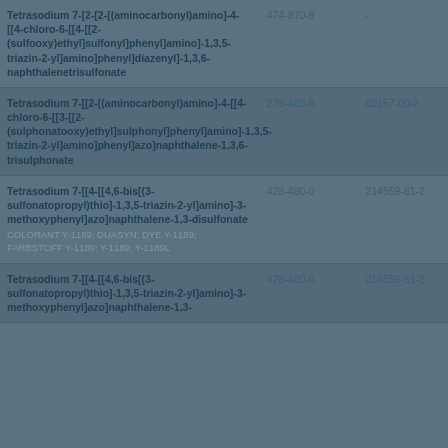| Name | EC Number | CAS Number |
| --- | --- | --- |
| Tetrasodium 7-[2-[2-[(aminocarbonyl)amino]-4-[[4-chloro-6-[[4-[[2-(sulfooxy)ethyl]sulfonyl]phenyl]amino]-1,3,5-triazin-2-yl]amino]phenyl]diazenyl]-1,3,6-naphthalenetrisulfonate | 474-870-9 | - |
| Tetrasodium 7-[[2-[(aminocarbonyl)amino]-4-[[4-chloro-6-[[3-[[2-(sulphonatooxy)ethyl]sulphonyl]phenyl]amino]-1,3,5-triazin-2-yl]amino]phenyl]azo]naphthalene-1,3,6-trisulphonate | 279-408-8 | 80157-00-2 |
| Tetrasodium 7-[[4-[[4,6-bis[(3-sulfonatopropyl)thio]-1,3,5-triazin-2-yl]amino]-3-methoxyphenyl]azo]naphthalene-1,3-disulfonate
COLORANT Y-1189; DUASYN; DYE Y-1189; FARBSTOFF Y-1189; Y-1189; Y-1189L | 428-480-0 | 214559-61-2 |
| Tetrasodium 7-[[4-[[4,6-bis[(3-sulfonatopropyl)thio]-1,3,5-triazin-2-yl]amino]-3-methoxyphenyl]azo]naphthalene-1,3- | 428-480-0 | 214559-61-2 |